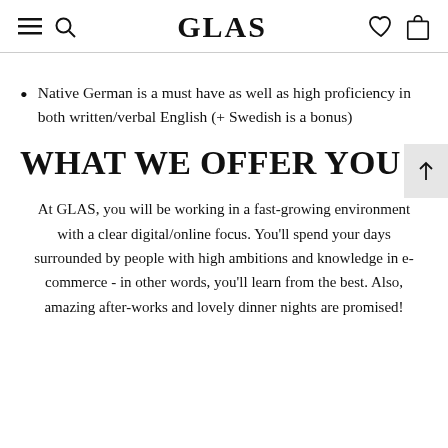GLAS
Native German is a must have as well as high proficiency in both written/verbal English (+ Swedish is a bonus)
WHAT WE OFFER YOU
At GLAS, you will be working in a fast-growing environment with a clear digital/online focus. You'll spend your days surrounded by people with high ambitions and knowledge in e-commerce - in other words, you'll learn from the best. Also, amazing after-works and lovely dinner nights are promised!